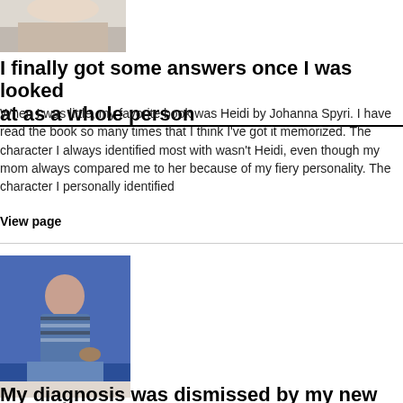[Figure (photo): Partial photo of a person, cropped at top of page]
I finally got some answers once I was looked at as a whole person
When I was little, my favorite book was Heidi by Johanna Spyri. I have read the book so many times that I think I've got it memorized. The character I always identified most with wasn't Heidi, even though my mom always compared me to her because of my fiery personality. The character I personally identified
View page
[Figure (photo): Woman sitting on a bed with a small dog, blue wall background]
My diagnosis was dismissed by my new